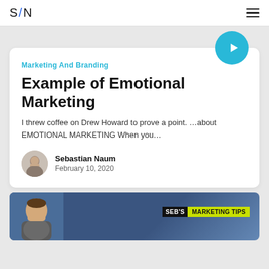S/N
[Figure (screenshot): Article card for 'Example of Emotional Marketing' with a teal play button, category label, title, excerpt, author avatar, and date]
Marketing And Branding
Example of Emotional Marketing
I threw coffee on Drew Howard to prove a point. ...about EMOTIONAL MARKETING When you...
Sebastian Naum
February 10, 2020
[Figure (screenshot): Thumbnail for Seb's Marketing Tips video with a person and yellow/black badge]